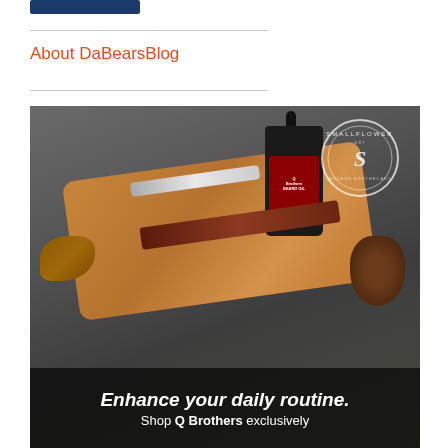[Figure (other): Dark blue button/banner at top left]
About DaBearsBlog
[Figure (photo): Advertisement photo showing grooming products (razor, Q Brothers Beard Oil bottle, comb) on a wooden tray with pine cone and autumn leaves on a dark stone background. Smallflower Modern Apothecary circular logo in top right. Bottom overlay text: 'Enhance your daily routine. Shop Q Brothers exclusively']